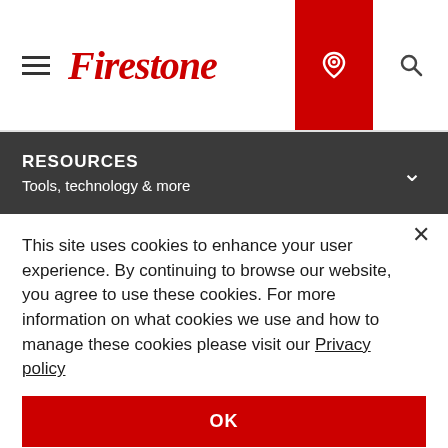[Figure (logo): Firestone logo with hamburger menu icon in the header navigation bar]
RESOURCES
Tools, technology & more
This site uses cookies to enhance your user experience. By continuing to browse our website, you agree to use these cookies. For more information on what cookies we use and how to manage these cookies please visit our Privacy policy
OK